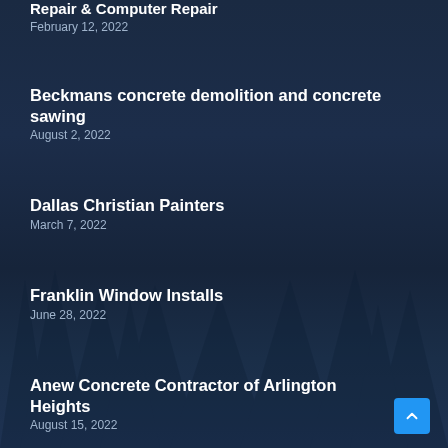Repair & Computer Repair
February 12, 2022
Beckmans concrete demolition and concrete sawing
August 2, 2022
Dallas Christian Painters
March 7, 2022
Franklin Window Installs
June 28, 2022
Anew Concrete Contractor of Arlington Heights
August 15, 2022